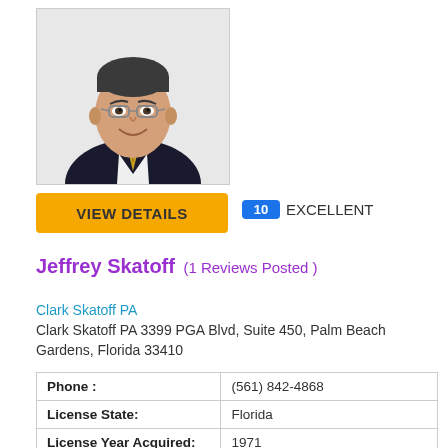[Figure (photo): Professional headshot of Jeffrey Skatoff, a man wearing glasses and a dark suit with a striped tie, smiling at camera]
VIEW DETAILS
10 EXCELLENT
Jeffrey Skatoff (1 Reviews Posted )
Clark Skatoff PA
Clark Skatoff PA 3399 PGA Blvd, Suite 450, Palm Beach Gardens, Florida 33410
|  |  |
| --- | --- |
| Phone : | (561) 842-4868 |
| License State: | Florida |
| License Year Acquired: | 1971 |